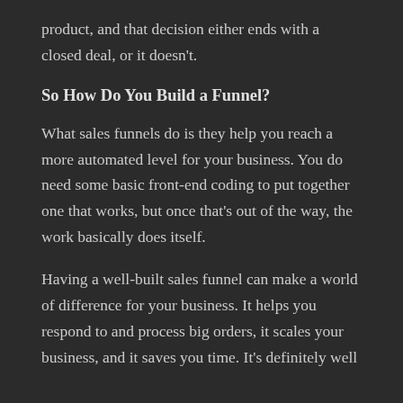product, and that decision either ends with a closed deal, or it doesn't.
So How Do You Build a Funnel?
What sales funnels do is they help you reach a more automated level for your business. You do need some basic front-end coding to put together one that works, but once that's out of the way, the work basically does itself.
Having a well-built sales funnel can make a world of difference for your business. It helps you respond to and process big orders, it scales your business, and it saves you time. It's definitely well